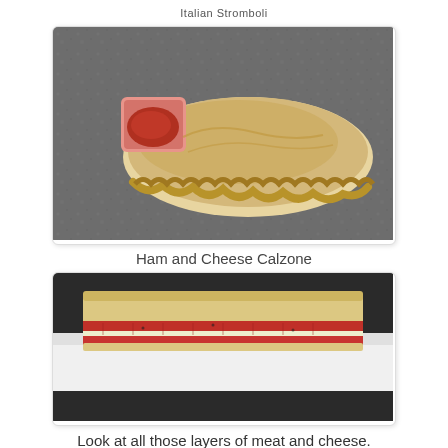Italian Stromboli
[Figure (photo): A baked ham and cheese calzone on a dark granite surface, with a small pink bowl of red marinara dipping sauce beside it. The calzone has a crimped/braided edge crust.]
Ham and Cheese Calzone
[Figure (photo): A cross-section of an Italian stromboli cut open on a white plate, revealing multiple layers of red meat (salami/pepperoni) and white cheese inside thin bread.]
Look at all those layers of meat and cheese.
[Figure (photo): Close-up of baked stromboli or calzone dough, golden brown, partially visible at the bottom of the page.]